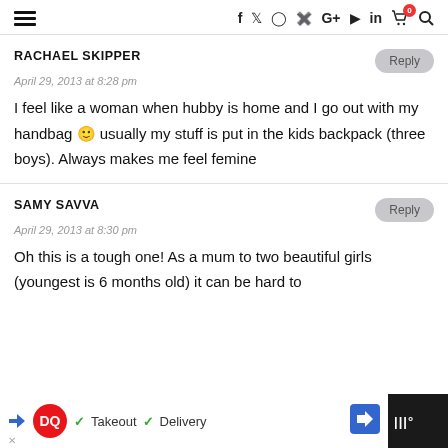Navigation header with hamburger menu and social/navigation icons (f, Twitter, Instagram, Pinterest, G+, YouTube, in, cart with 0 badge, search)
RACHAEL SKIPPER
April 29, 2013 at 8:28 pm
I feel like a woman when hubby is home and I go out with my handbag 🙂 usually my stuff is put in the kids backpack (three boys). Always makes me feel femine
SAMY SAVVA
April 29, 2013 at 8:30 pm
Oh this is a tough one! As a mum to two beautiful girls (youngest is 6 months old) it can be hard to
[Figure (screenshot): Dairy Queen advertisement bar at the bottom with logo, Takeout and Delivery checkmarks, and directional arrow icon]